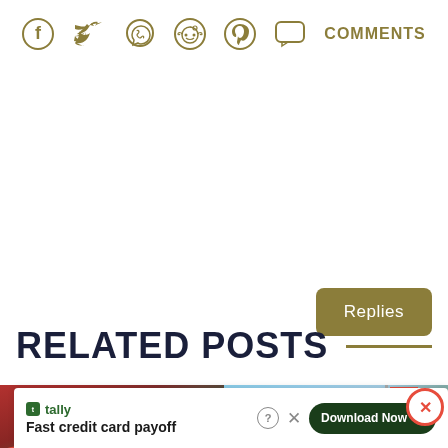COMMENTS
Replies
RELATED POSTS
[Figure (photo): Two photos side by side: left shows people raising hands in front of a green/red background; right shows a palm tree and American flag against a blue sky]
[Figure (infographic): Advertisement overlay: Tally logo with text 'Fast credit card payoff' and 'Download Now' button with arrow. Help and close icons visible.]